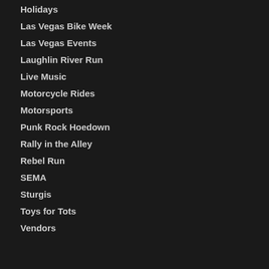Holidays
Las Vegas Bike Week
Las Vegas Events
Laughlin River Run
Live Music
Motorcycle Rides
Motorsports
Punk Rock Hoedown
Rally in the Alley
Rebel Run
SEMA
Sturgis
Toys for Tots
Vendors